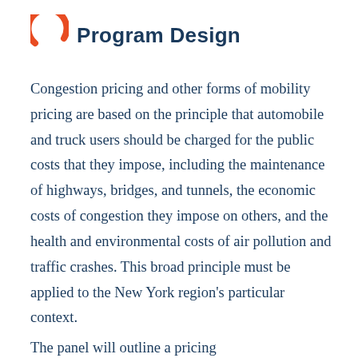[Figure (logo): Orange circle/arc icon on the left side of the section header]
Program Design
Congestion pricing and other forms of mobility pricing are based on the principle that automobile and truck users should be charged for the public costs that they impose, including the maintenance of highways, bridges, and tunnels, the economic costs of congestion they impose on others, and the health and environmental costs of air pollution and traffic crashes. This broad principle must be applied to the New York region's particular context.
The panel will outline a pricing...